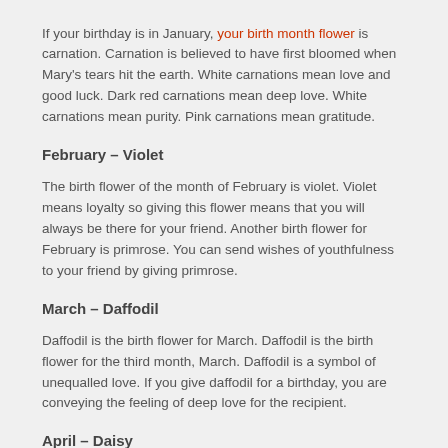If your birthday is in January, your birth month flower is carnation. Carnation is believed to have first bloomed when Mary's tears hit the earth. White carnations mean love and good luck. Dark red carnations mean deep love. White carnations mean purity. Pink carnations mean gratitude.
February – Violet
The birth flower of the month of February is violet. Violet means loyalty so giving this flower means that you will always be there for your friend. Another birth flower for February is primrose. You can send wishes of youthfulness to your friend by giving primrose.
March – Daffodil
Daffodil is the birth flower for March. Daffodil is the birth flower for the third month, March. Daffodil is a symbol of unequalled love. If you give daffodil for a birthday, you are conveying the feeling of deep love for the recipient.
April – Daisy